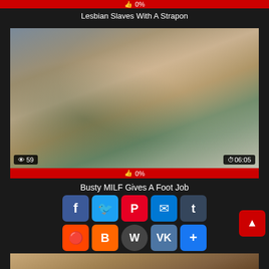[Figure (screenshot): Red rating bar showing 0% likes with thumbs up icon]
Lesbian Slaves With A Strapon
[Figure (photo): Video thumbnail showing two people, with view count 59 and duration 06:05]
[Figure (screenshot): Red rating bar showing 0% likes]
Busty MILF Gives A Foot Job
[Figure (screenshot): Social share buttons: Facebook, Twitter, Pinterest, Email, Tumblr, Reddit, Blogger, WordPress, VK, Add. Scroll-to-top red button. Partial video thumbnail at bottom.]